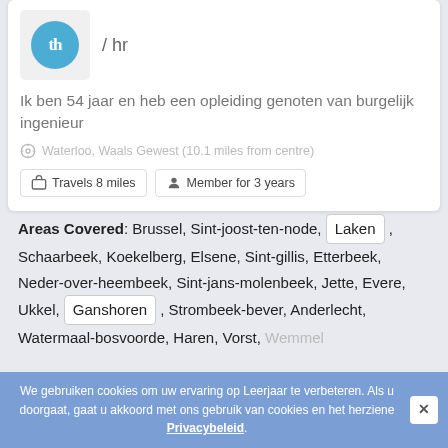[Figure (logo): Circular blue avatar with 'th' text and rate '/hr' label]
Ik ben 54 jaar en heb een opleiding genoten van burgelijk ingenieur
Waterloo, Waals Gewest (10.1 miles from centre)
Travels 8 miles
Member for 3 years
Areas Covered: Brussel, Sint-joost-ten-node, Laken , Schaarbeek, Koekelberg, Elsene, Sint-gillis, Etterbeek, Neder-over-heembeek, Sint-jans-molenbeek, Jette, Evere, Ukkel, Ganshoren , Strombeek-bever, Anderlecht, Watermaal-bosvoorde, Haren, Vorst, Wemmel
We gebruiken cookies om uw ervaring op Leerjaar te verbeteren. Als u doorgaat, gaat u akkoord met ons gebruik van cookies en het herziene Privacybeleid.